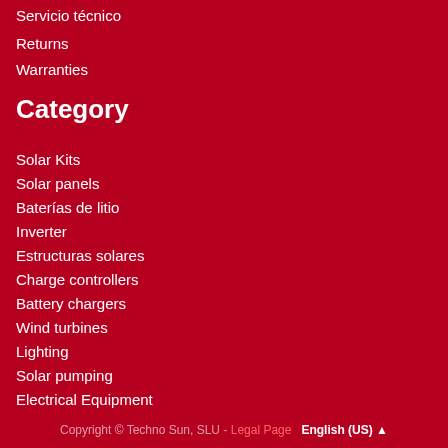Servicio técnico
Returns
Warranties
Category
Solar Kits
Solar panels
Baterías de litio
Inverter
Estructuras solares
Charge controllers
Battery chargers
Wind turbines
Lighting
Solar pumping
Electrical Equipment
Copyright © Techno Sun, SLU - Legal Page   English (US) ▲